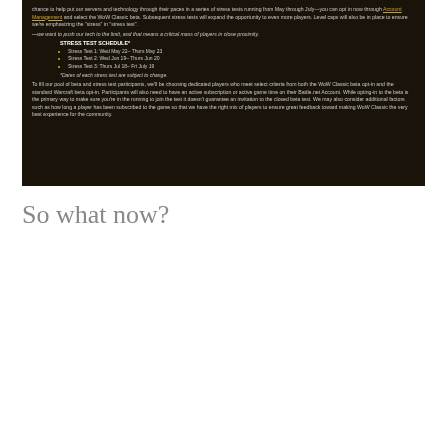[Figure (screenshot): Dark-background webpage screenshot showing a WoW Classic beta stress test schedule and beta participant selection information, with gold/amber colored list items and hyperlink text.]
So what now?